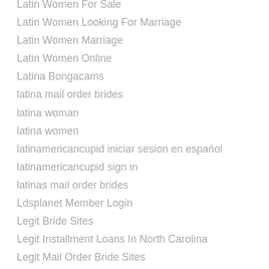Latin Women For Sale
Latin Women Looking For Marriage
Latin Women Marriage
Latin Women Online
Latina Bongacams
latina mail order brides
latina woman
latina women
latinamericancupid iniciar sesion en español
latinamericancupid sign in
latinas mail order brides
Ldsplanet Member Login
Legit Bride Sites
Legit Installment Loans In North Carolina
Legit Mail Order Bride Sites
Legitimate Russian Bride Sites
Legitimate Ukrainian Bride Sites
Lending Club Complaints